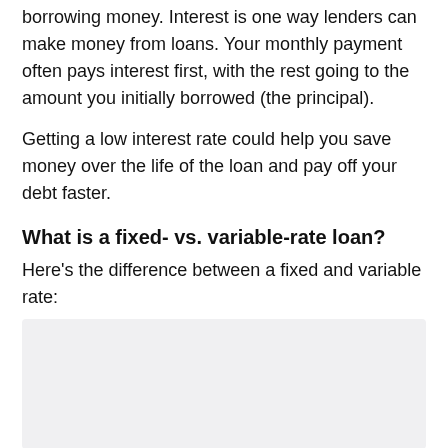borrowing money. Interest is one way lenders can make money from loans. Your monthly payment often pays interest first, with the rest going to the amount you initially borrowed (the principal).
Getting a low interest rate could help you save money over the life of the loan and pay off your debt faster.
What is a fixed- vs. variable-rate loan?
Here's the difference between a fixed and variable rate:
[Figure (other): Gray box placeholder for an image or diagram illustrating fixed vs variable rate]
With a fixed rate, your monthly payment amount will stay the same over the course of your loan term.